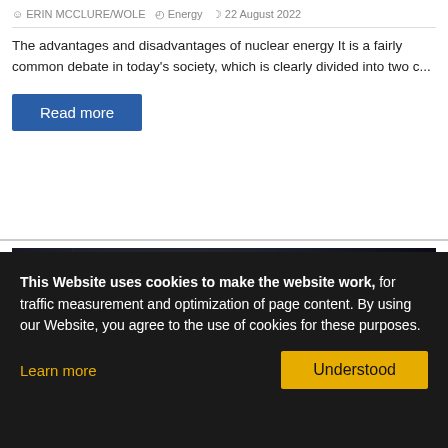The advantages and disadvantages of nuclear energy It is a fairly common debate in today's society, which is clearly divided into two c...
Read more
[Figure (photo): Close-up photo of a car grille badge reading HYBRID in chrome letters on a dark metallic background]
This Website uses cookies to make the website work, for traffic measurement and optimization of page content. By using our Website, you agree to the use of cookies for these purposes.
Learn more
Understood